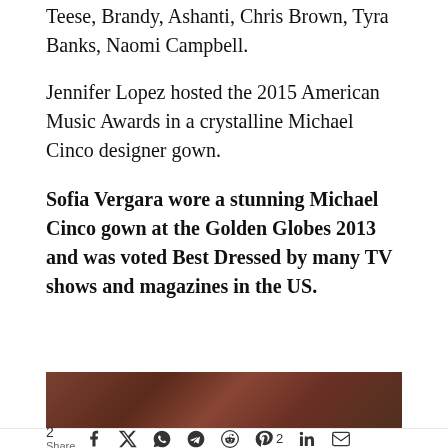Teese, Brandy, Ashanti, Chris Brown, Tyra Banks, Naomi Campbell.
Jennifer Lopez hosted the 2015 American Music Awards in a crystalline Michael Cinco designer gown.
Sofia Vergara wore a stunning Michael Cinco gown at the Golden Globes 2013 and was voted Best Dressed by many TV shows and magazines in the US.
[Figure (photo): Partial photo of a person, cropped, with reddish-brown wooden background texture]
2 Share [social media icons: Facebook, Twitter, WhatsApp, Telegram, Reddit, Pinterest 2, LinkedIn, Email]